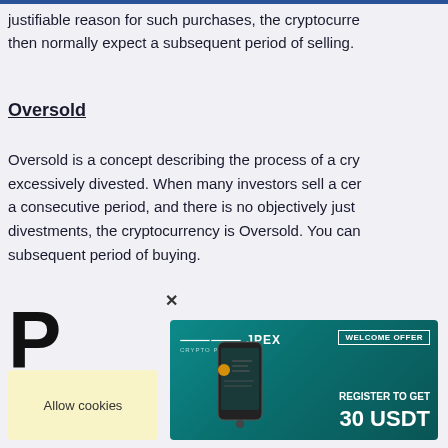justifiable reason for such purchases, the cryptocurre then normally expect a subsequent period of selling.
Oversold
Oversold is a concept describing the process of a cry excessively divested. When many investors sell a cer a consecutive period, and there is no objectively just divestments, the cryptocurrency is Oversold. You can subsequent period of buying.
[Figure (screenshot): JPEX crypto platform advertisement banner with 'WELCOME OFFER - REGISTER TO GET 30 USDT' text on teal background with phone image]
Allow cookies